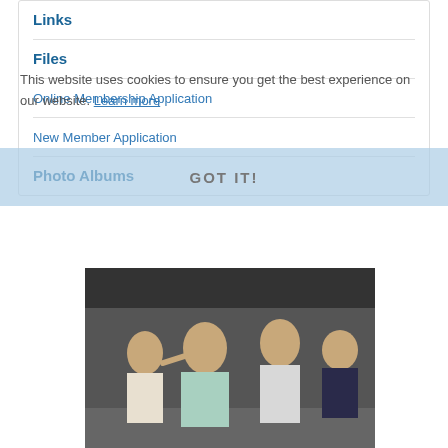Links
Files
Online Membership Application
New Member Application
Photo Albums
This website uses cookies to ensure you get the best experience on our website. Learn more
[Figure (photo): A group of people at what appears to be an indoor event or ceremony, with one person pinning something on another person's shirt.]